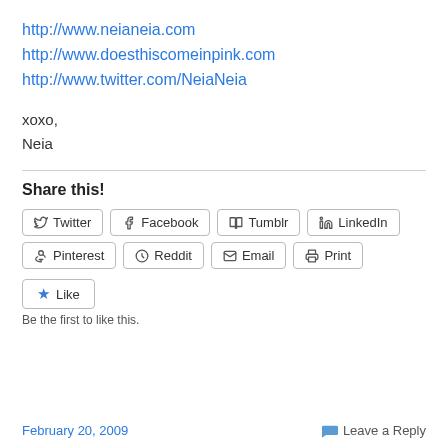http://www.neianeia.com
http://www.doesthiscomeinpink.com
http://www.twitter.com/NeiaNeia
xoxo,
Neia
Share this!
[Figure (other): Social share buttons: Twitter, Facebook, Tumblr, LinkedIn, Pinterest, Reddit, Email, Print]
[Figure (other): Like button with star icon]
Be the first to like this.
February 20, 2009    Leave a Reply